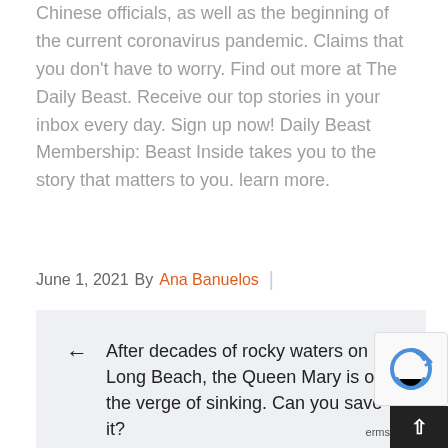Chinese officials, as well as the beginning of the current coronavirus pandemic. Claims that you don't have to worry. Find out more at The Daily Beast. Receive our top stories in your inbox every day. Sign up now! Daily Beast Membership: Beast Inside takes you to the story that matters to you. learn more.
June 1, 2021 By Ana Banuelos |
← After decades of rocky waters on Long Beach, the Queen Mary is on the verge of sinking. Can you save it?